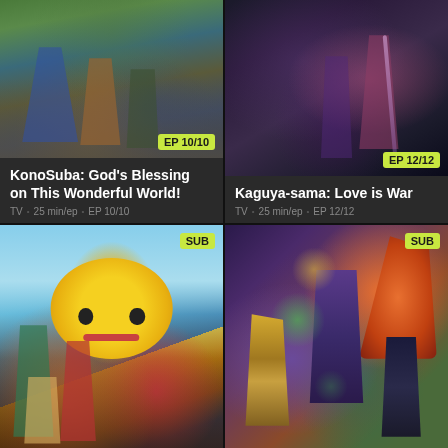[Figure (screenshot): Anime streaming grid showing 4 titles: KonoSuba (EP 10/10), Kaguya-sama: Love is War (EP 12/12), Assassination Classroom (SUB), Mob Psycho (SUB)]
EP 10/10
KonoSuba: God's Blessing on This Wonderful World!
TV • 25 min/ep • EP 10/10
EP 12/12
Kaguya-sama: Love is War
TV • 25 min/ep • EP 12/12
SUB
SUB